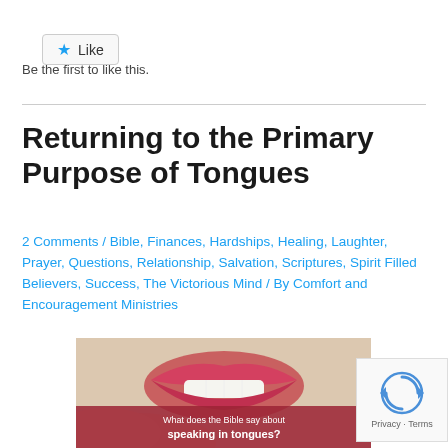[Figure (other): Like button widget with star icon and 'Like' text, bordered box]
Be the first to like this.
Returning to the Primary Purpose of Tongues
2 Comments / Bible, Finances, Hardships, Healing, Laughter, Prayer, Questions, Relationship, Salvation, Scriptures, Spirit Filled Believers, Success, The Victorious Mind / By Comfort and Encouragement Ministries
[Figure (photo): Close-up photo of a mouth/lips open, with red background overlay and white text reading 'What does the Bible say about speaking in tongues?']
[Figure (other): reCAPTCHA widget with spinning arrows logo and 'Privacy · Terms' text]